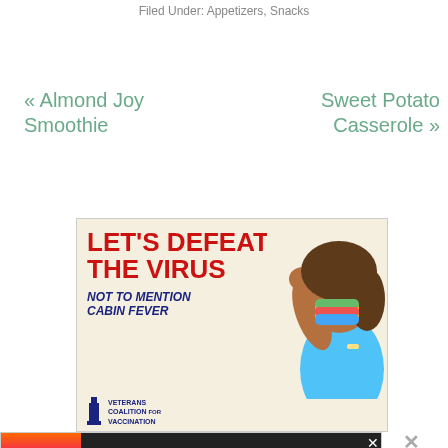Filed Under: Appetizers, Snacks
« Almond Joy Smoothie
Sweet Potato Casserole »
[Figure (photo): Advertisement: 'LET'S DEFEAT THE VIRUS NOT TO MENTION CABIN FEVER' with an image of a woman wearing a colorful mask, raising a fist. Veterans Coalition for Vaccination logo at bottom.]
[Figure (photo): Advertisement: #ViralKindness with a heart hands silhouette against a colorful sky background.]